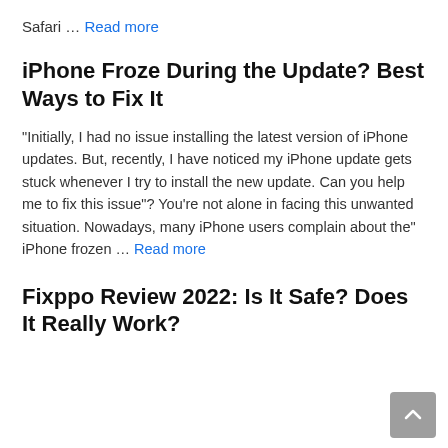Safari … Read more
iPhone Froze During the Update? Best Ways to Fix It
“Initially, I had no issue installing the latest version of iPhone updates. But, recently, I have noticed my iPhone update gets stuck whenever I try to install the new update. Can you help me to fix this issue”? You’re not alone in facing this unwanted situation. Nowadays, many iPhone users complain about the” iPhone frozen … Read more
Fixppo Review 2022: Is It Safe? Does It Really Work?